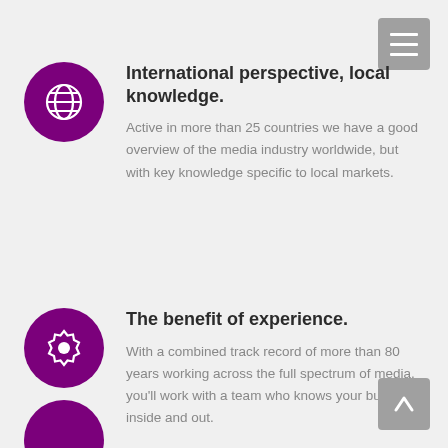[Figure (illustration): Purple circle with white globe/world icon]
International perspective, local knowledge.
Active in more than 25 countries we have a good overview of the media industry worldwide, but with key knowledge specific to local markets.
[Figure (illustration): Purple circle with white gear/badge icon]
The benefit of experience.
With a combined track record of more than 80 years working across the full spectrum of media, you’ll work with a team who knows your business inside and out.
[Figure (illustration): Purple circle partially visible at bottom, third section icon]